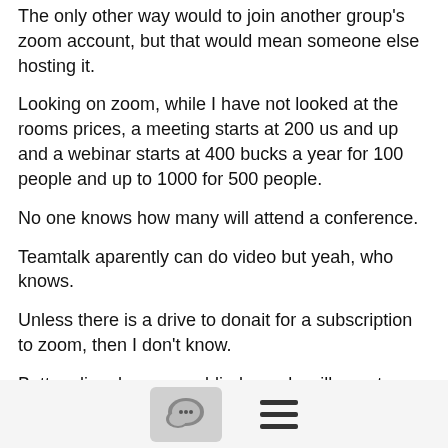The only other way would to join another group's zoom account, but that would mean someone else hosting it.
Looking on zoom, while I have not looked at the rooms prices, a meeting starts at 200 us and up and a webinar starts at 400 bucks a year for 100 people and up to 1000 for 500 people.
No one knows how many will attend a conference.
Teamtalk aparently can do video but yeah, who knows.
Unless there is a drive to donait for a subscription to zoom, then I don't know.
Bottem line, how many blind people will care to donate cash for a yearly event 1 time.
Sure if I had the 1000 bucks for 500 people, I'd pay that per year, but I don't have that.
There are other options for developers and educators and not sure about the rest, I guess zoom could be approached by those handling conferences and asked for the event its only really 1 or
[Figure (other): Bottom navigation bar with a chat bubble icon in a grey rounded box and a hamburger menu icon]